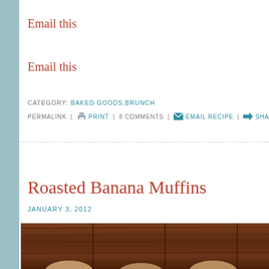Email this
Email this
CATEGORY: BAKED GOODS,BRUNCH
PERMALINK | PRINT | 8 COMMENTS | EMAIL RECIPE | SHARE
Roasted Banana Muffins
JANUARY 3, 2012
[Figure (photo): Photo of muffins on a wooden surface, partially visible at bottom of page]